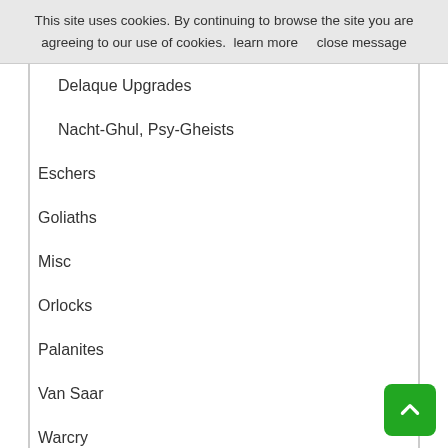This site uses cookies. By continuing to browse the site you are agreeing to our use of cookies.  learn more     close message
Delaque Upgrades
Nacht-Ghul, Psy-Gheists
Eschers
Goliaths
Misc
Orlocks
Palanites
Van Saar
Warcry